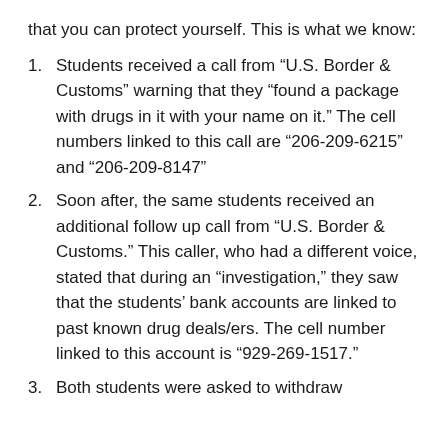that you can protect yourself. This is what we know:
Students received a call from “U.S. Border & Customs” warning that they “found a package with drugs in it with your name on it.” The cell numbers linked to this call are “206-209-6215” and “206-209-8147”
Soon after, the same students received an additional follow up call from “U.S. Border & Customs.” This caller, who had a different voice, stated that during an “investigation,” they saw that the students’ bank accounts are linked to past known drug deals/ers. The cell number linked to this account is “929-269-1517.”
Both students were asked to withdraw